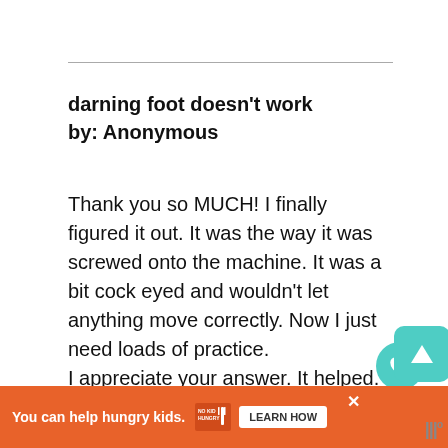darning foot doesn't work
by: Anonymous
Thank you so MUCH! I finally figured it out. It was the way it was screwed onto the machine. It was a bit cock eyed and wouldn't let anything move correctly. Now I just need loads of practice.
I appreciate your answer. It helped.
You can help hungry kids. NO KID HUNGRY LEARN HOW